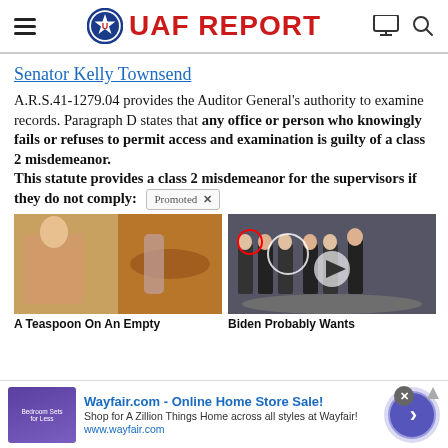UAF REPORT
Senator Kelly Townsend
A.R.S.41-1279.04 provides the Auditor General's authority to examine records. Paragraph D states that any office or person who knowingly fails or refuses to permit access and examination is guilty of a class 2 misdemeanor. This statute provides a class 2 misdemeanor for the supervisors if they do not comply:
[Figure (photo): Ad thumbnail: fitness/spice image - A Teaspoon On An Empty]
[Figure (photo): Ad thumbnail: group of men in suits - Biden Probably Wants]
[Figure (infographic): Bottom banner ad: Wayfair.com - Online Home Store Sale! Shop for A Zillion Things Home across all styles at Wayfair! www.wayfair.com]